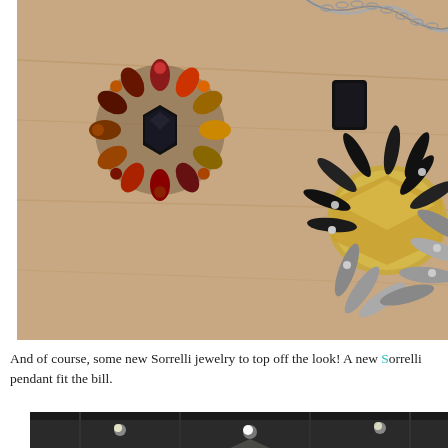[Figure (photo): Close-up photo of two pieces of Sorrelli jewelry on a wooden surface: a brooch/earring with dark red, amber, and black crystals arranged in a flower shape (upper left), and a large statement necklace pendant with black elongated crystals, silver-toned marquise stones, and a large champagne/golden central crystal (right side), with a silver chain visible at top.]
And of course, some new Sorrelli jewelry to top off the look! A new S[orrelli] pendant fit the bill.
[Figure (photo): Partial photo of what appears to be a studio or event space with dark ceiling, track lighting, and studio lights visible.]